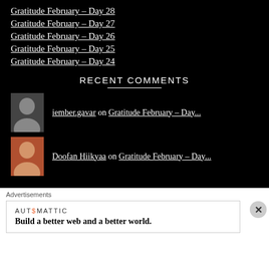Gratitude February – Day 28
Gratitude February – Day 27
Gratitude February – Day 26
Gratitude February – Day 25
Gratitude February – Day 24
RECENT COMMENTS
iember.gavar on Gratitude February – Day...
Doofan Hiikyaa on Gratitude February – Day...
Advertisements
AUTOMATTIC
Build a better web and a better world.